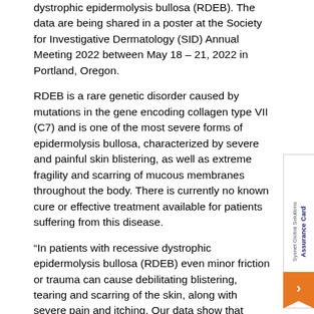dystrophic epidermolysis bullosa (RDEB). The data are being shared in a poster at the Society for Investigative Dermatology (SID) Annual Meeting 2022 between May 18 – 21, 2022 in Portland, Oregon.
RDEB is a rare genetic disorder caused by mutations in the gene encoding collagen type VII (C7) and is one of the most severe forms of epidermolysis bullosa, characterized by severe and painful skin blistering, as well as extreme fragility and scarring of mucous membranes throughout the body. There is currently no known cure or effective treatment available for patients suffering from this disease.
“In patients with recessive dystrophic epidermolysis bullosa (RDEB) even minor friction or trauma can cause debilitating blistering, tearing and scarring of the skin, along with severe pain and itching. Our data show that treatment with PTR-01 led to rapid, consistent, and durable wound healing,” said Sanuj K. Ravindran, M.D., executive chairman of Phoenix Tissue Repair. “We are hopeful that by addressing the root cause of this rare disease, we will be able to provide a treatment beyond daily wound care and pain management for patients in need.”
The Phase 2, open-label study was designed to examine the effect of PTR-01 on wound healing as well as other endpoints, and to evaluate the long-term safety and tolerability of the drug candidate. The data shared at the 2022 SID Annual Meeting demonstrated that PTR-01 was well tolerated when given once per week for 4 weeks and then every...